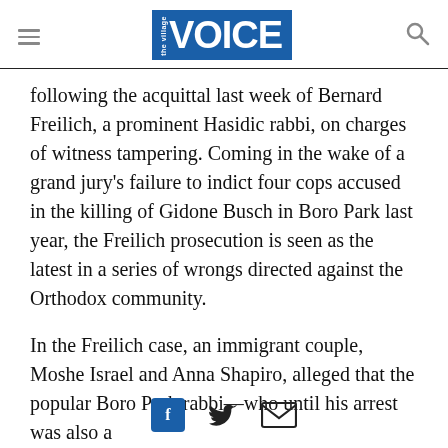Village Voice
following the acquittal last week of Bernard Freilich, a prominent Hasidic rabbi, on charges of witness tampering. Coming in the wake of a grand jury’s failure to indict four cops accused in the killing of Gidone Busch in Boro Park last year, the Freilich prosecution is seen as the latest in a series of wrongs directed against the Orthodox community.
In the Freilich case, an immigrant couple, Moshe Israel and Anna Shapiro, alleged that the popular Boro Park rabbi—who until his arrest was also a